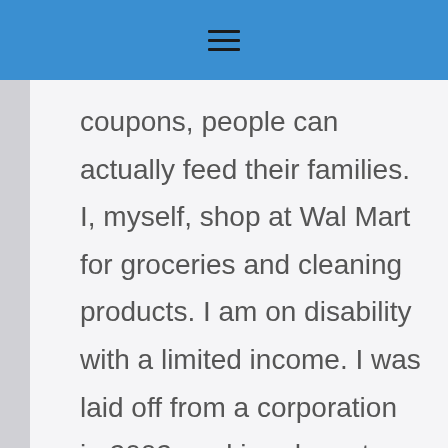☰
coupons, people can actually feed their families. I, myself, shop at Wal Mart for groceries and cleaning products. I am on disability with a limited income. I was laid off from a corporation in 2002, making decent money. I was over 50 and no one would hire me. Wal Mart did. I know how they